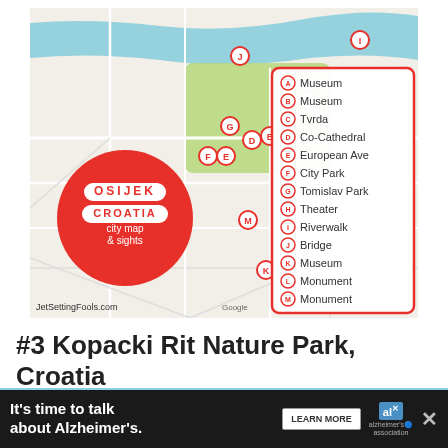[Figure (map): City map of Osijek, Croatia showing labeled tourist sights A-M with a red circular logo overlay reading OSIJEK CROATIA city map & sights, a legend box on the right listing: A-Museum, B-Museum, C-Tvrda, D-Co-Cathedral, E-European Ave, F-City Park, G-Tomislav Park, H-Theater, I-Riverwalk, J-Bridge, K-Museum, L-Monument, M-Monument. JetSettingFools.com watermark at bottom left.]
#3 Kopacki Rit Nature Park, Croatia
[Figure (photo): Partial view of a nature/landscape photo strip, blue sky and water visible]
It's time to talk about Alzheimer's. LEARN MORE [Alzheimer's Association advertisement]